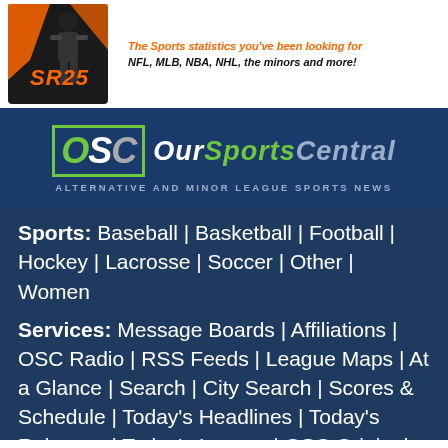[Figure (logo): Sports statistics website logo with athlete silhouette and orange/black design with text showing 'SR25' or similar brand name]
The Sports statistics you've been looking for
NFL, MLB, NBA, NHL, the minors and more!
[Figure (logo): OurSportsCentral logo - OSC in green/white letters on dark blue background with tagline 'Alternative and Minor League Sports News']
Sports: Baseball | Basketball | Football | Hockey | Lacrosse | Soccer | Other | Women
Services: Message Boards | Affiliations | OSC Radio | RSS Feeds | League Maps | At a Glance | Search | City Search | Scores & Schedule | Today's Headlines | Today's Releases | Today's Images | OSC Originals | Team Tryouts | Massey Ratings